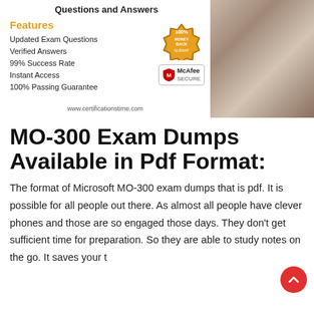Questions and Answers
Features
Updated Exam Questions
Verified Answers
99% Success Rate
Instant Access
100% Passing Guarantee
[Figure (photo): Woman using laptop computer]
www.certificationstime.com
MO-300 Exam Dumps Available in Pdf Format:
The format of Microsoft MO-300 exam dumps that is pdf. It is possible for all people out there. As almost all people have clever phones and those are so engaged those days. They don't get sufficient time for preparation. So they are able to study notes on the go. It saves your t... This is...